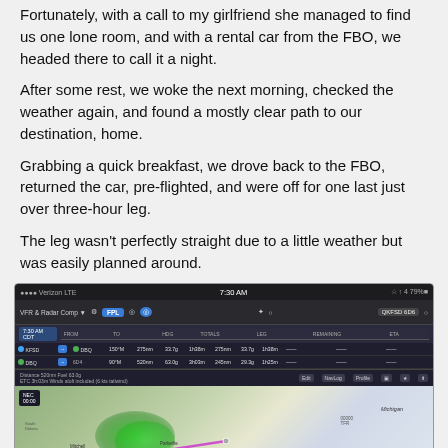Fortunately, with a call to my girlfriend she managed to find us one lone room, and with a rental car from the FBO, we headed there to call it a night.
After some rest, we woke the next morning, checked the weather again, and found a mostly clear path to our destination, home.
Grabbing a quick breakfast, we drove back to the FBO, returned the car, pre-flighted, and were off for one last just over three-hour leg.
The leg wasn't perfectly straight due to a little weather but was easily planned around.
[Figure (screenshot): Aviation app screenshot showing flight plan from KFSD to 6D6 with VFR radar map overlay, two-leg route with weather visible]